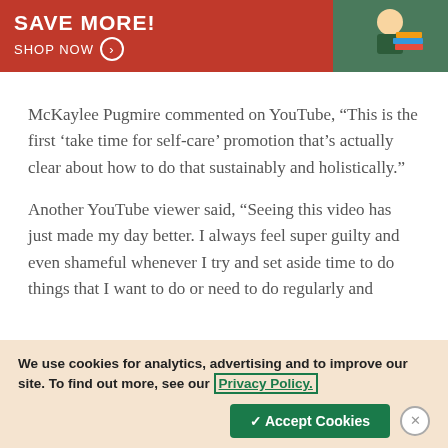[Figure (other): Advertisement banner with red background showing 'SAVE MORE! SHOP NOW' text with arrow button on left, and photo of child with books on right]
McKaylee Pugmire commented on YouTube, “This is the first ‘take time for self-care’ promotion that’s actually clear about how to do that sustainably and holistically.”
Another YouTube viewer said, “Seeing this video has just made my day better. I always feel super guilty and even shameful whenever I try and set aside time to do things that I want to do or need to do regularly and
We use cookies for analytics, advertising and to improve our site. To find out more, see our Privacy Policy.